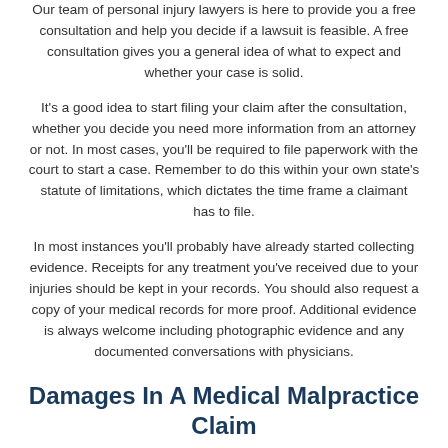Our team of personal injury lawyers is here to provide you a free consultation and help you decide if a lawsuit is feasible. A free consultation gives you a general idea of what to expect and whether your case is solid.
It's a good idea to start filing your claim after the consultation, whether you decide you need more information from an attorney or not. In most cases, you'll be required to file paperwork with the court to start a case. Remember to do this within your own state's statute of limitations, which dictates the time frame a claimant has to file.
In most instances you'll probably have already started collecting evidence. Receipts for any treatment you've received due to your injuries should be kept in your records. You should also request a copy of your medical records for more proof. Additional evidence is always welcome including photographic evidence and any documented conversations with physicians.
Damages In A Medical Malpractice Claim
When filing you'll need to explain what happened and why you